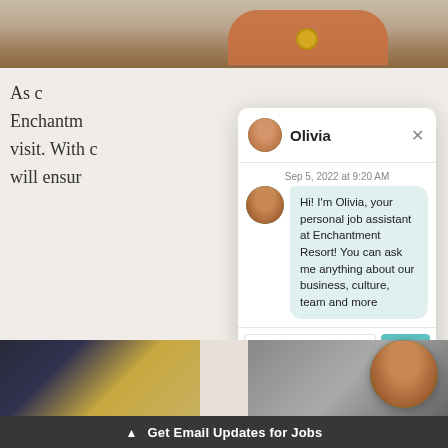[Figure (photo): Top photo strip showing person in orange top with watch at a table]
As c
Enchantm
visit. With c
will ensur
[Figure (screenshot): Chat widget with Olivia avatar, showing AI job assistant chatbot for Enchantment Resort. Header shows 'Olivia' with close X button. Timestamp: Sep 5, 2022 at 9:20 AM. Message: Hi! I'm Olivia, your personal job assistant at Enchantment Resort! You can ask me anything about our business, culture, team and more. Input field says 'Type a message' with a 'Send' button. Footer: Terms | Powered by Paradox]
[Figure (photo): Bottom left thumbnail showing string lights in dark setting]
[Figure (photo): Bottom right thumbnail showing person, partially visible]
[Figure (photo): Floating circular avatar of Olivia in bottom right corner]
▲ Get Email Updates for Jobs